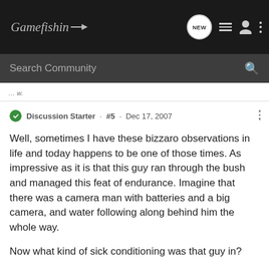Gamefishin [logo/nav bar]
Search Community
Discussion Starter · #5 · Dec 17, 2007
Well, sometimes I have these bizzaro observations in life and today happens to be one of those times. As impressive as it is that this guy ran through the bush and managed this feat of endurance. Imagine that there was a camera man with batteries and a big camera, and water following along behind him the whole way.

Now what kind of sick conditioning was that guy in?
[Figure (screenshot): Advertisement banner at bottom: photo of people, red background with text 'YOUR NEW FAVORITE SPORT', 'EXPLORE HOW TO RESPONSIBLY PARTICIPATE IN THE SHOOTING SPORTS.', 'START HERE!' button, and 'The Best' label on left with chevron on right.]